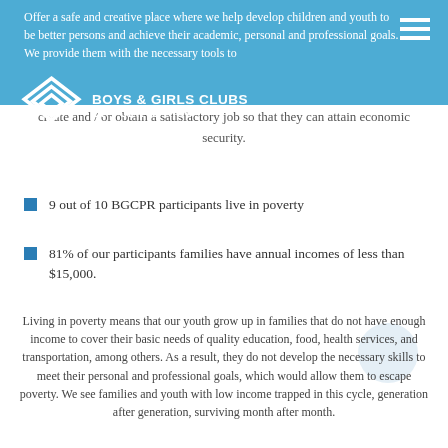Boys & Girls Clubs of Puerto Rico
Offer a safe and creative place where we help develop children and youth to be better persons and achieve their academic, personal and professional goals. We provide them with the necessary tools to create and / or obtain a satisfactory job so that they can attain economic security.
9 out of 10 BGCPR participants live in poverty
81% of our participants families have annual incomes of less than $15,000.
Living in poverty means that our youth grow up in families that do not have enough income to cover their basic needs of quality education, food, health services, and transportation, among others. As a result, they do not develop the necessary skills to meet their personal and professional goals, which would allow them to escape poverty. We see families and youth with low income trapped in this cycle, generation after generation, surviving month after month.